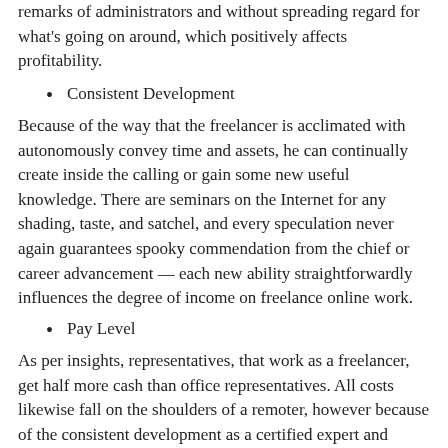remarks of administrators and without spreading regard for what's going on around, which positively affects profitability.
Consistent Development
Because of the way that the freelancer is acclimated with autonomously convey time and assets, he can continually create inside the calling or gain some new useful knowledge. There are seminars on the Internet for any shading, taste, and satchel, and every speculation never again guarantees spooky commendation from the chief or career advancement — each new ability straightforwardly influences the degree of income on freelance online work.
Pay Level
As per insights, representatives, that work as a freelancer, get half more cash than office representatives. All costs likewise fall on the shoulders of a remoter, however because of the consistent development as a certified expert and extending client base, growing the portfolio and other workflow angles — acquiring on freelance online work is here and there a few times higher than regular pay rates.
PostCategoryIcon Category: Business | PostTagIcon | PostCommentsIcon No Comments »